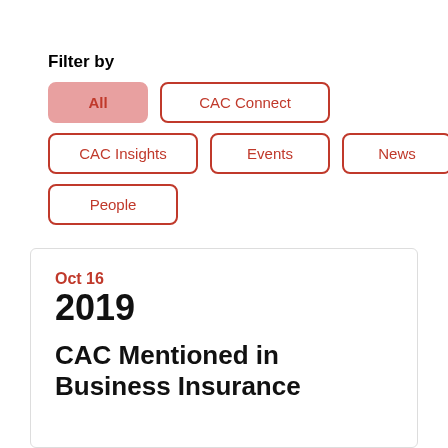Filter by
All
CAC Connect
CAC Insights
Events
News
People
Oct 16
2019
CAC Mentioned in Business Insurance